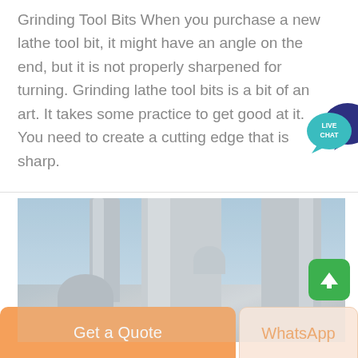Grinding Tool Bits When you purchase a new lathe tool bit, it might have an angle on the end, but it is not properly sharpened for turning. Grinding lathe tool bits is a bit of an art. It takes some practice to get good at it. You need to create a cutting edge that is sharp.
[Figure (illustration): Live Chat button with speech bubbles - teal/dark blue chat icons with LIVE CHAT text]
[Figure (photo): Industrial grinding/milling machinery - large cylindrical silos and pipes against a blue sky with trees visible at bottom left]
Get a Quote
WhatsApp